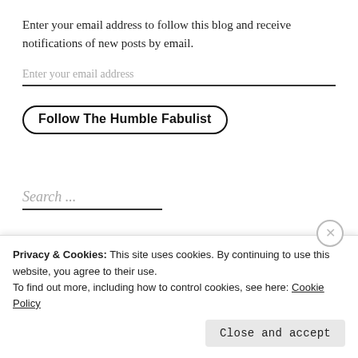Enter your email address to follow this blog and receive notifications of new posts by email.
Enter your email address
Follow The Humble Fabulist
Search ...
Privacy & Cookies: This site uses cookies. By continuing to use this website, you agree to their use.
To find out more, including how to control cookies, see here: Cookie Policy
Close and accept